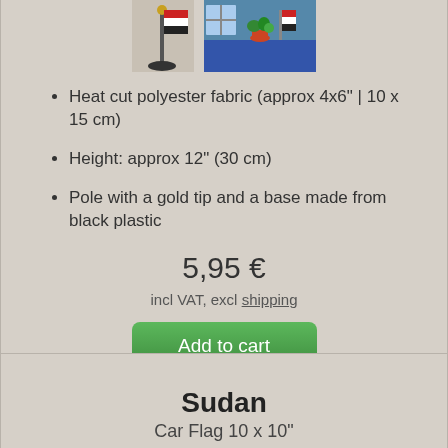[Figure (photo): Two product images: a desk flag on a pole and a scene photo showing flags in a room setting]
Heat cut polyester fabric (approx 4x6" | 10 x 15 cm)
Height: approx 12" (30 cm)
Pole with a gold tip and a base made from black plastic
5,95 €
incl VAT, excl shipping
Add to cart
View details
Sudan